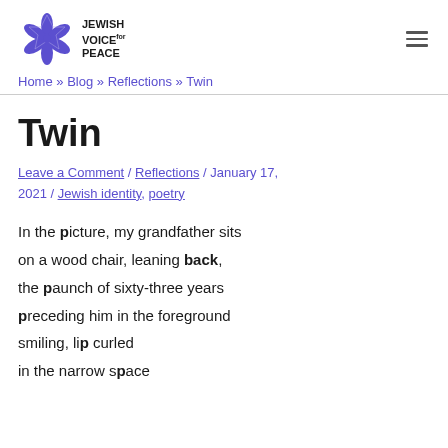Jewish Voice for Peace [logo] [hamburger menu]
Home » Blog » Reflections » Twin
Twin
Leave a Comment / Reflections / January 17, 2021 / Jewish identity, poetry
In the picture, my grandfather sits
on a wood chair, leaning back,
the paunch of sixty-three years
preceding him in the foreground
smiling, lip curled
in the narrow space